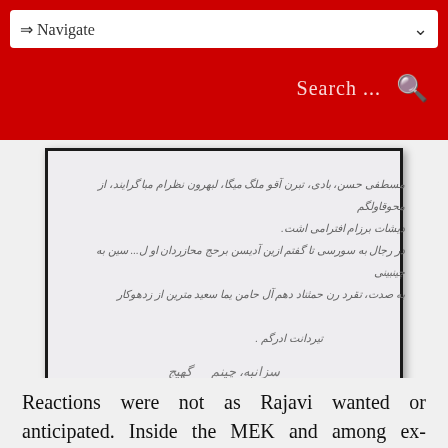⇒ Navigate | Search ...
[Figure (photo): A handwritten letter in Farsi/Persian script with cursive handwriting, a signature, and a date at the bottom.]
Reactions were not as Rajavi wanted or anticipated. Inside the MEK and among ex-members there has been outrage. It seems to everyone that after three decades of unpaid work for the MEK and Saddam Hussein, the day